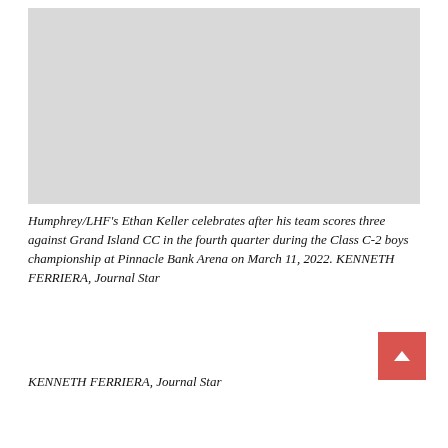[Figure (photo): Gray placeholder rectangle representing a photo of Ethan Keller celebrating]
Humphrey/LHF's Ethan Keller celebrates after his team scores three against Grand Island CC in the fourth quarter during the Class C-2 boys championship at Pinnacle Bank Arena on March 11, 2022. KENNETH FERRIERA, Journal Star
KENNETH FERRIERA, Journal Star